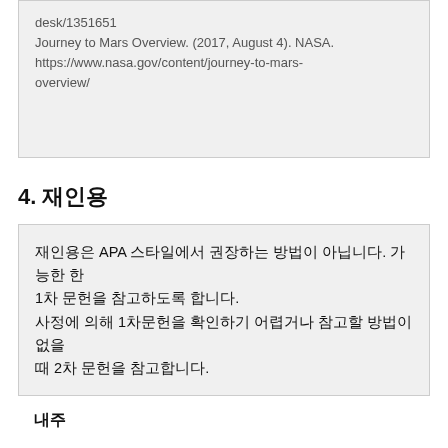desk/1351651
Journey to Mars Overview. (2017, August 4). NASA.
https://www.nasa.gov/content/journey-to-mars-overview/
4. 재인용
재인용은 APA 스타일에서 권장하는 방법이 아닙니다. 가능한 한 1차 문헌을 참고하도록 합니다.
사정에 의해 1차문헌을 확인하기 어렵거나 참고할 방법이 없을 때 2차 문헌을 참고합니다.
내주